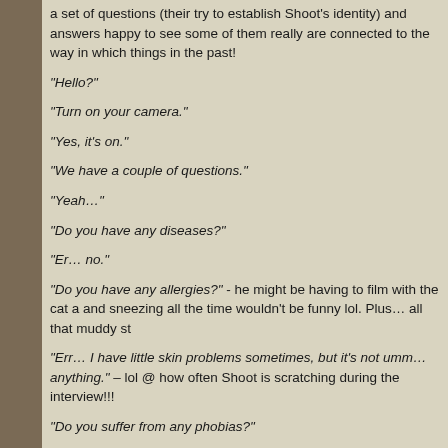a set of questions (their try to establish Shoot's identity) and answers happy to see some of them really are connected to the way in which things in the past!
“Hello?”
“Turn on your camera.”
“Yes, it’s on.”
“We have a couple of questions.”
“Yeah…”
“Do you have any diseases?”
“Er… no.”
“Do you have any allergies?” - he might be having to film with the cat a and sneezing all the time wouldn’t be funny lol. Plus… all that muddy st
“Err… I have little skin problems sometimes, but it’s not umm… anything.” – lol @ how often Shoot is scratching during the interview!!!
“Do you suffer from any phobias?”